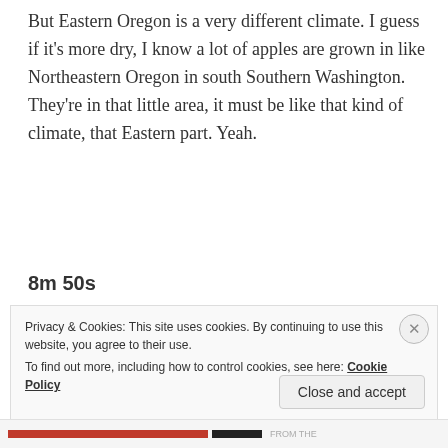But Eastern Oregon is a very different climate. I guess if it's more dry, I know a lot of apples are grown in like Northeastern Oregon in south Southern Washington. They're in that little area, it must be like that kind of climate, that Eastern part. Yeah.
8m 50s
Privacy & Cookies: This site uses cookies. By continuing to use this website, you agree to their use. To find out more, including how to control cookies, see here: Cookie Policy
Close and accept